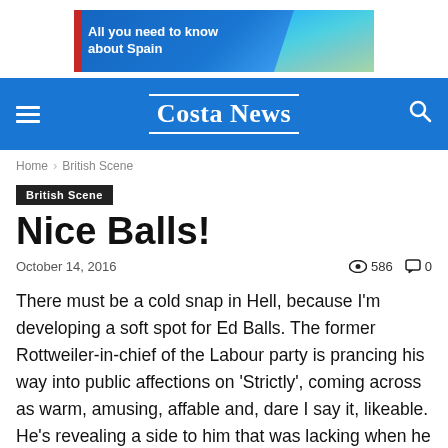[Figure (other): Advertisement banner: 'All you need to know about Spain' with blue gradient and coastal photo]
Costa News
Home › British Scene
British Scene
Nice Balls!
October 14, 2016   👁 586   💬 0
There must be a cold snap in Hell, because I'm developing a soft spot for Ed Balls. The former Rottweiler-in-chief of the Labour party is prancing his way into public affections on 'Strictly', coming across as warm, amusing, affable and, dare I say it, likeable. He's revealing a side to him that was lacking when he sat on the front benches. It may be a bit of a stretch to